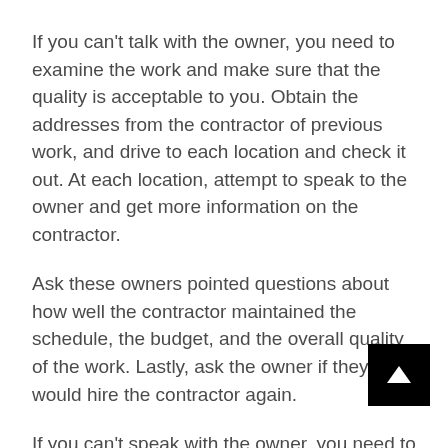If you can't talk with the owner, you need to examine the work and make sure that the quality is acceptable to you. Obtain the addresses from the contractor of previous work, and drive to each location and check it out. At each location, attempt to speak to the owner and get more information on the contractor.
Ask these owners pointed questions about how well the contractor maintained the schedule, the budget, and the overall quality of the work. Lastly, ask the owner if they would hire the contractor again.
If you can't speak with the owner, you need to carefully examine the quality of workmanship and decide on using this contractor for your project.
The best place to view work is at a project that a contractor is currently working on. There, you will see